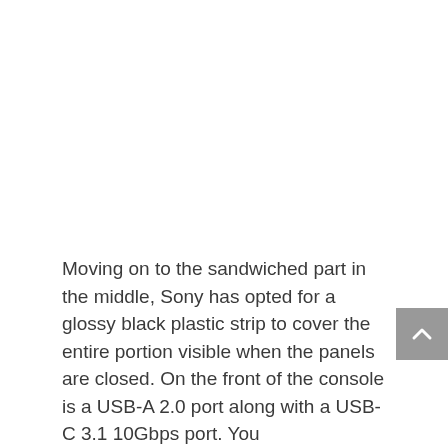Moving on to the sandwiched part in the middle, Sony has opted for a glossy black plastic strip to cover the entire portion visible when the panels are closed. On the front of the console is a USB-A 2.0 port along with a USB-C 3.1 10Gbps port. You